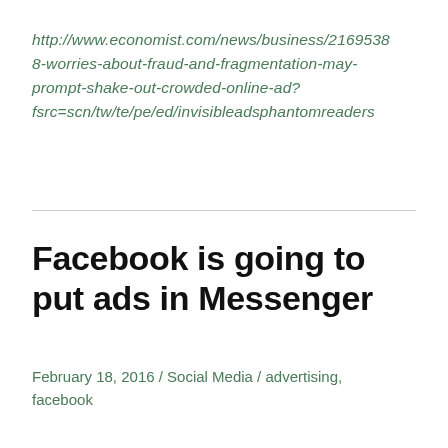http://www.economist.com/news/business/21695388-worries-about-fraud-and-fragmentation-may-prompt-shake-out-crowded-online-ad?fsrc=scn/tw/te/pe/ed/invisibleadsphantomreaders
Facebook is going to put ads in Messenger
February 18, 2016 / Social Media / advertising, facebook